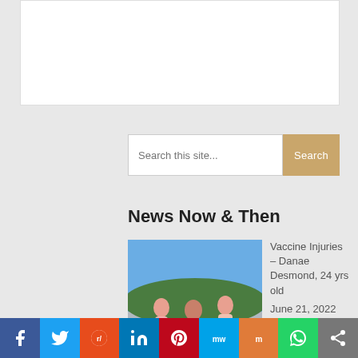[Figure (other): White rectangular banner/advertisement area at top of page]
Search this site...
News Now & Then
[Figure (photo): Photo of a woman and two young children in pink swimwear at a beach or lakeside on a sunny day with trees in the background]
Vaccine Injuries – Danae Desmond, 24 yrs old
June 21, 2022
[Figure (other): Social media sharing bar with icons for Facebook, Twitter, Reddit, LinkedIn, Pinterest, MeWe, Mix, WhatsApp, and More]